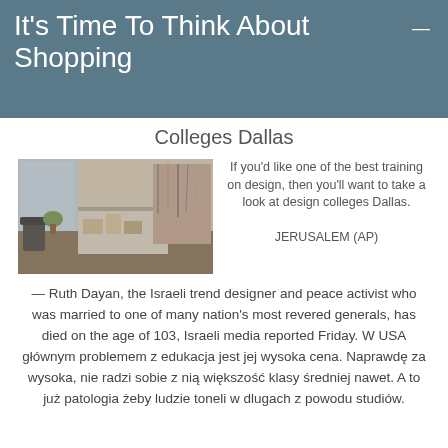It's Time To Think About Shopping
Colleges Dallas
[Figure (photo): Interior of a design studio or workspace with a desk, shelves, garments, accessories, and a mood board on the wall.]
If you'd like one of the best training on design, then you'll want to take a look at design colleges Dallas. JERUSALEM (AP) — Ruth Dayan, the Israeli trend designer and peace activist who was married to one of many nation's most revered generals, has died on the age of 103, Israeli media reported Friday. W USA głównym problemem z edukacja jest jej wysoka cena. Naprawdę za wysoka, nie radzi sobie z nią większość klasy średniej nawet. A to już patologia żeby ludzie toneli w dlugach z powodu studiów.